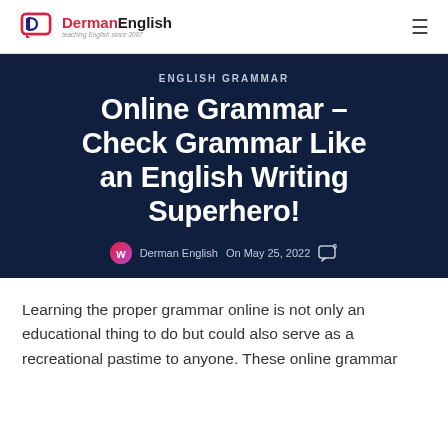Derman English — Teaching English since 2007
ENGLISH GRAMMAR
Online Grammar – Check Grammar Like an English Writing Superhero!
Derman English  On May 25, 2022  0
Learning the proper grammar online is not only an educational thing to do but could also serve as a recreational pastime to anyone. These online grammar